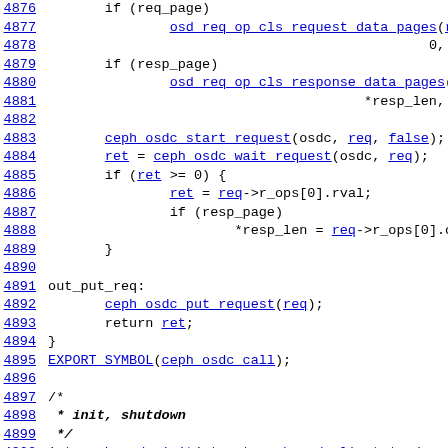Source code listing lines 4876-4900, C kernel code for ceph OSD client
4876  if (req_page)
4877          osd_req_op_cls_request_data_pages(req, 0, &
4878                                          0, false, false);
4879  if (resp_page)
4880          osd_req_op_cls_response_data_pages(req, 0,
4881                                          *resp_len, 0, false, false)
4882
4883          ceph_osdc_start_request(osdc, req, false);
4884          ret = ceph_osdc_wait_request(osdc, req);
4885          if (ret >= 0) {
4886                  ret = req->r_ops[0].rval;
4887                  if (resp_page)
4888                          *resp_len = req->r_ops[0].outdata_len;
4889          }
4890
4891 out_put_req:
4892          ceph_osdc_put_request(req);
4893          return ret;
4894 }
4895 EXPORT_SYMBOL(ceph_osdc_call);
4896
4897 /*
4898  * init, shutdown
4899  */
4900 int ceph_osdc_init(struct ceph_osd_client *osdc, struct